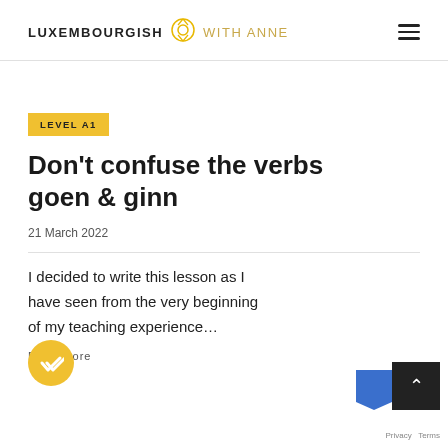LUXEMBOURGISH WITH ANNE
LEVEL A1
Don't confuse the verbs goen & ginn
21 March 2022
I decided to write this lesson as I have seen from the very beginning of my teaching experience…
Read More